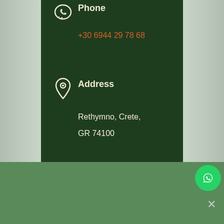Phone
+30 6944 29 78 68
Address
Rethymno, Crete, GR 74100
Name
We use cookies to ensure that we give you the best experience on our website. If you continue to use this site we will assume that you are happy with it.
Ok